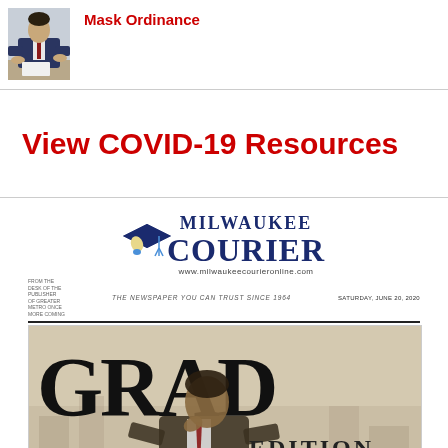[Figure (photo): Man in suit sitting at a desk, signing a document]
Mask Ordinance
View COVID-19 Resources
[Figure (photo): Milwaukee Courier newspaper front page, Grad Edition, Saturday June 20, 2020, featuring a young man in a suit, large GRAD EDITION headline]